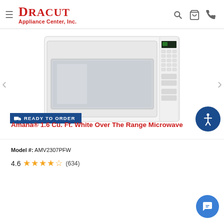Dracut Appliance Center, Inc.
[Figure (photo): White over-the-range microwave oven with control panel on the right side, shown against white background with a READY TO ORDER badge overlay]
Amana® 1.6 Cu. Ft. White Over The Range Microwave
Model #: AMV2307PFW
4.6 ★★★★★ (634)